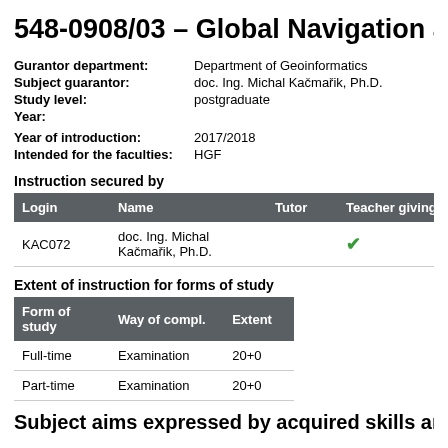548-0908/03 – Global Navigation and ...
|  |  |
| --- | --- |
| Gurantor department: | Department of Geoinformatics |
| Subject guarantor: | doc. Ing. Michal Kačmařik, Ph.D. |
| Study level: | postgraduate |
| Year: |  |
Year of introduction: 2017/2018
Intended for the faculties: HGF
Instruction secured by
| Login | Name | Tutor | Teacher giving lec... |
| --- | --- | --- | --- |
| KAC072 | doc. Ing. Michal Kačmařik, Ph.D. |  | ✓ |
Extent of instruction for forms of study
| Form of study | Way of compl. | Extent |
| --- | --- | --- |
| Full-time | Examination | 20+0 |
| Part-time | Examination | 20+0 |
Subject aims expressed by acquired skills and co...